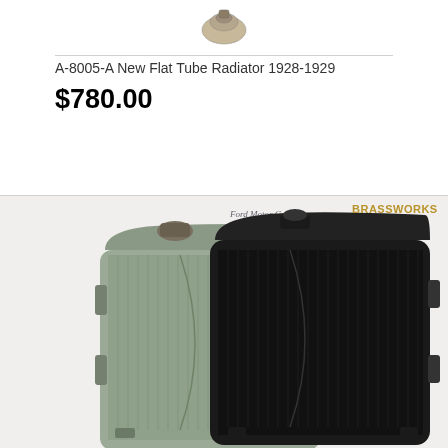[Figure (photo): Small mechanical part (appears to be a cap or fitting) shown at the top of the product listing]
A-8005-A New Flat Tube Radiator 1928-1929
$780.00
[Figure (photo): Two radiators side by side — one old/worn silver/grey radiator on the left and one new black radiator on the right from Brassworks. Ford Motor Company script visible on the top of the old radiator. Brassworks logo visible top right.]